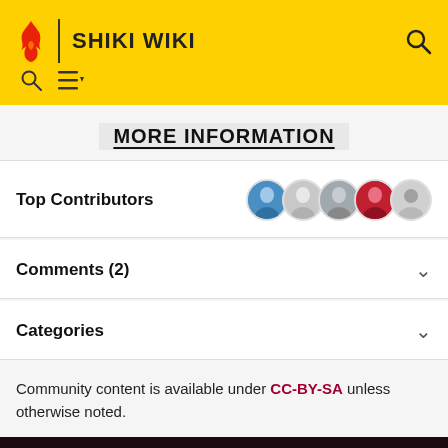SHIKI WIKI
MORE INFORMATION
Top Contributors
Comments (2)
Categories
Community content is available under CC-BY-SA unless otherwise noted.
MORE SHIKI WIKI
1  Shiki (Anime)